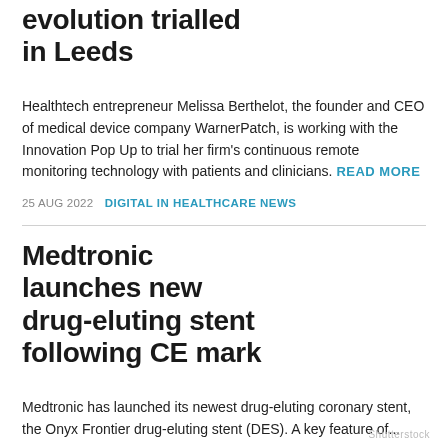evolution trialled in Leeds
Healthtech entrepreneur Melissa Berthelot, the founder and CEO of medical device company WarnerPatch, is working with the Innovation Pop Up to trial her firm's continuous remote monitoring technology with patients and clinicians. READ MORE
25 AUG 2022   DIGITAL IN HEALTHCARE NEWS
Medtronic launches new drug-eluting stent following CE mark
Medtronic has launched its newest drug-eluting coronary stent, the Onyx Frontier drug-eluting stent (DES). A key feature of...
Shutterstock